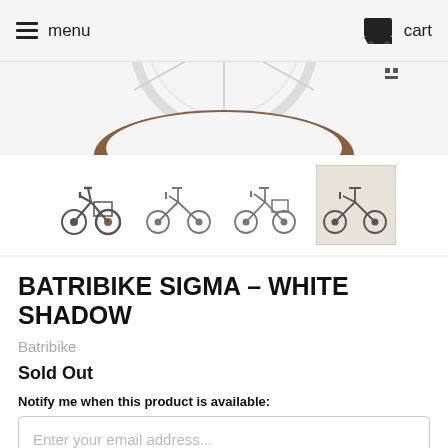menu   cart
[Figure (photo): Main product image showing close-up of bicycle wheel with brown tire, partially visible at top of page]
[Figure (photo): Four thumbnail images of Batribike Sigma electric folding bicycle in various positions: folded front view, side unfolded, side with basket, and side view selected/highlighted]
BATRIBIKE SIGMA – WHITE SHADOW
Batribike
Sold Out
Notify me when this product is available:
Enter your email address...
send